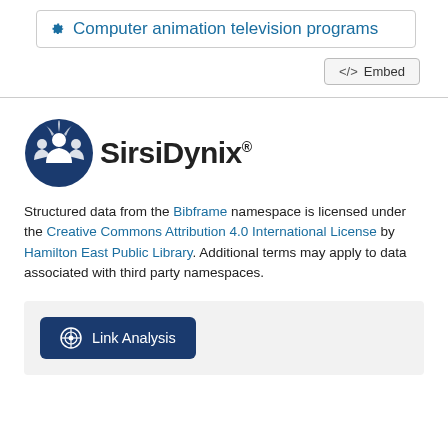Computer animation television programs
<> Embed
[Figure (logo): SirsiDynix logo with blue circular icon and bold SirsiDynix text]
Structured data from the Bibframe namespace is licensed under the Creative Commons Attribution 4.0 International License by Hamilton East Public Library. Additional terms may apply to data associated with third party namespaces.
Link Analysis